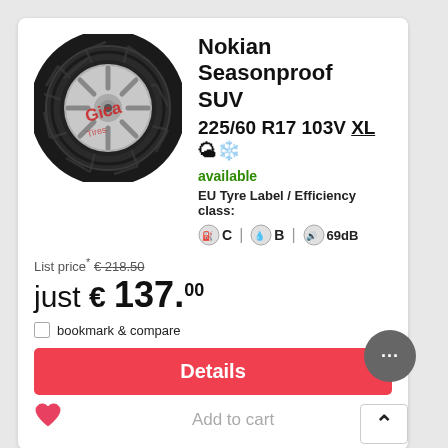[Figure (photo): Nokian Seasonproof SUV tyre image with Giga Tires watermark]
Nokian Seasonproof SUV
225/60 R17 103V XL 🌤❄️
available
EU Tyre Label / Efficiency class:
[Figure (infographic): EU Tyre Label icons: fuel efficiency C, wet grip B, noise 69dB]
List price* €218.50
just €137.00
bookmark & compare
Details
Add to cart